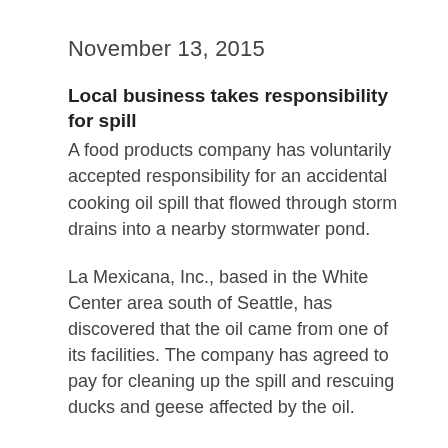November 13, 2015
Local business takes responsibility for spill
A food products company has voluntarily accepted responsibility for an accidental cooking oil spill that flowed through storm drains into a nearby stormwater pond.
La Mexicana, Inc., based in the White Center area south of Seattle, has discovered that the oil came from one of its facilities. The company has agreed to pay for cleaning up the spill and rescuing ducks and geese affected by the oil.
The Washington Department of Ecology has been coordinating the response effort, in cooperation with the Washington Department of Fish and Wildlife (WDFW) and the King County Department of Natural Resources and Parks, which owns the